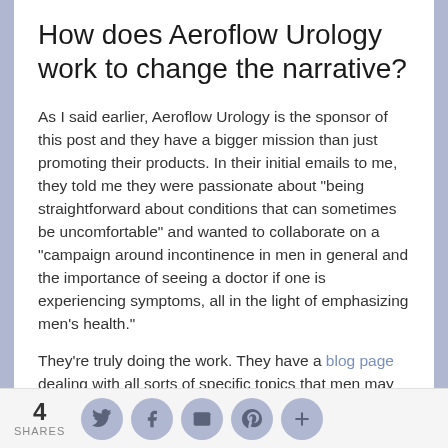How does Aeroflow Urology work to change the narrative?
As I said earlier, Aeroflow Urology is the sponsor of this post and they have a bigger mission than just promoting their products. In their initial emails to me, they told me they were passionate about "being straightforward about conditions that can sometimes be uncomfortable" and wanted to collaborate on a "campaign around incontinence in men in general and the importance of seeing a doctor if one is experiencing symptoms, all in the light of emphasizing men's health."
They're truly doing the work. They have a blog page dealing with all sorts of specific topics that men may encounter, including pelvic floor exercises for men and
4 SHARES